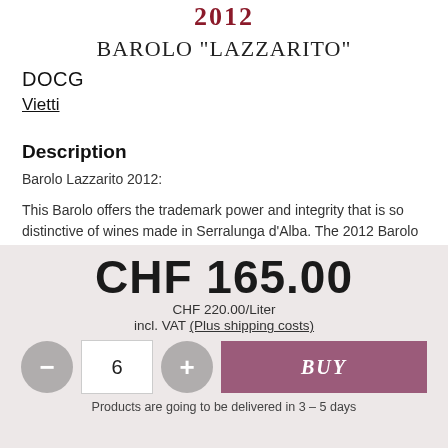[Figure (logo): Winery logo/year mark in dark red at top center]
BAROLO "LAZZARITO"
DOCG
Vietti
Description
Barolo Lazzarito 2012:
This Barolo offers the trademark power and integrity that is so distinctive of wines made in Serralunga d'Alba. The 2012 Barolo
CHF 165.00
CHF 220.00/Liter
incl. VAT (Plus shipping costs)
Products are going to be delivered in 3 – 5 days